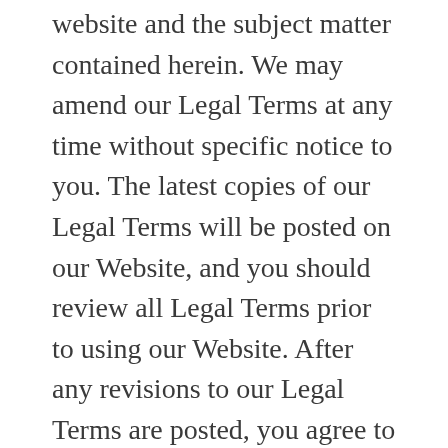website and the subject matter contained herein. We may amend our Legal Terms at any time without specific notice to you. The latest copies of our Legal Terms will be posted on our Website, and you should review all Legal Terms prior to using our Website. After any revisions to our Legal Terms are posted, you agree to be bound to any such changes to them. Therefore, it is important for you to periodically review our Legal Terms to make sure you still agree to them.
By using our Website, you agree to fully comply with and be bound by our Legal